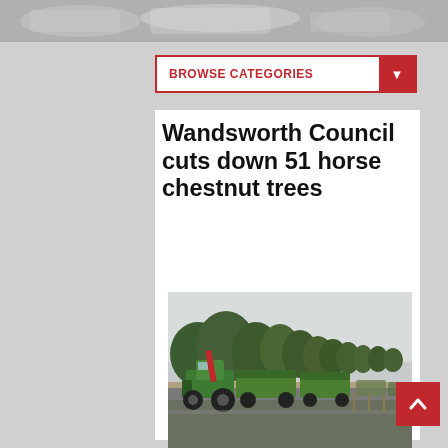[Figure (photo): Top banner with blurred/grey image of vehicles or machinery]
[Figure (screenshot): Browse Categories dropdown navigation bar with red border and red arrow button]
Wandsworth Council cuts down 51 horse chestnut trees
[Figure (photo): Outdoor photo showing green farm tractors and trailers on a road next to trees being felled, overcast sky]
[Figure (other): Red scroll-to-top button with upward arrow]